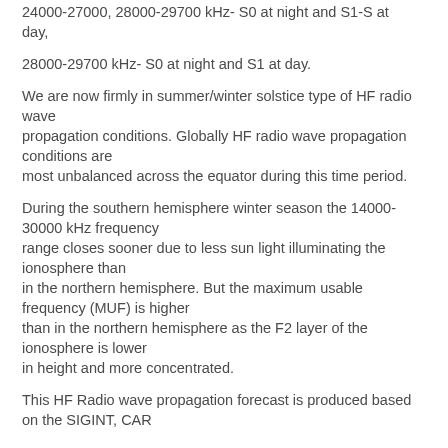24000-27000, 28000-29700 kHz- S0 at night and S1-S at day,
28000-29700 kHz- S0 at night and S1 at day.
We are now firmly in summer/winter solstice type of HF radio wave propagation conditions. Globally HF radio wave propagation conditions are most unbalanced across the equator during this time period.
During the southern hemisphere winter season the 14000-30000 kHz frequency range closes sooner due to less sun light illuminating the ionosphere than in the northern hemisphere. But the maximum usable frequency (MUF) is higher than in the northern hemisphere as the F2 layer of the ionosphere is lower in height and more concentrated.
This HF Radio wave propagation forecast is produced based on the SIGINT, CAR...